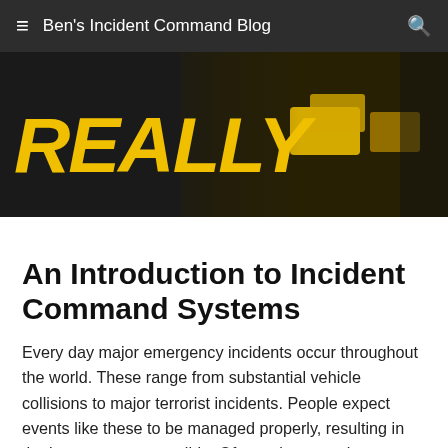Ben's Incident Command Blog
[Figure (photo): A dark banner image showing the word REALLY in large bold yellow italic text on the left, with emergency scene equipment (yellow boxes/cases) visible on the right side against a dark background.]
An Introduction to Incident Command Systems
Every day major emergency incidents occur throughout the world. These range from substantial vehicle collisions to major terrorist incidents. People expect events like these to be managed properly, resulting in the best outcome possible. Often, when a major emergency occurs many agencies are involved in the event. In a